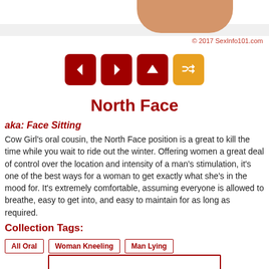[Figure (photo): Partial photo of a person at the top of the page]
© 2017 SexInfo101.com
[Figure (infographic): Navigation buttons: left arrow, right arrow, up arrow (all dark red), and shuffle icon (orange/yellow)]
North Face
aka: Face Sitting
Cow Girl's oral cousin, the North Face position is a great to kill the time while you wait to ride out the winter. Offering women a great deal of control over the location and intensity of a man's stimulation, it's one of the best ways for a woman to get exactly what she's in the mood for. It's extremely comfortable, assuming everyone is allowed to breathe, easy to get into, and easy to maintain for as long as required.
Collection Tags:
All Oral
Woman Kneeling
Man Lying